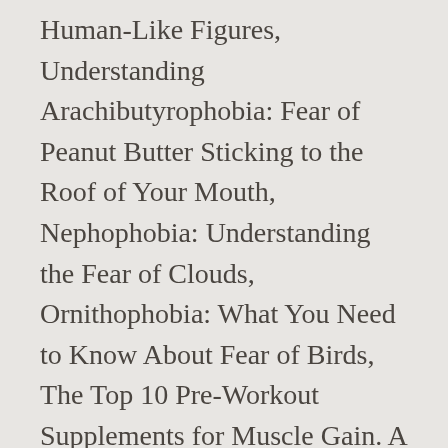Human-Like Figures, Understanding Arachibutyrophobia: Fear of Peanut Butter Sticking to the Roof of Your Mouth, Nephophobia: Understanding the Fear of Clouds, Ornithophobia: What You Need to Know About Fear of Birds, The Top 10 Pre-Workout Supplements for Muscle Gain. A Fear of Touch: Interactive Exhibits After COVID-19 provides a look at touch alternatives and adaptations, as well as the pros, cons, and examples for each option, including: motion-activated technology, voice activation, phone apps, foot switch mats, styluses, antimicrobial film, and promoting healthy hygiene and cleaning protocols. Holding hands makes me